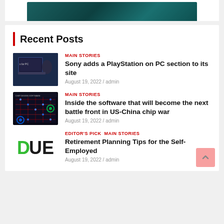[Figure (photo): Dark teal product image at top, partially cropped]
Recent Posts
[Figure (photo): PlayStation on PC laptop screenshot thumbnail]
MAIN STORIES
Sony adds a PlayStation on PC section to its site
August 19, 2022 / admin
[Figure (photo): Circuit board / chip design software screenshot thumbnail]
MAIN STORIES
Inside the software that will become the next battle front in US-China chip war
August 19, 2022 / admin
[Figure (logo): DUE logo in green and black]
EDITOR'S PICK   MAIN STORIES
Retirement Planning Tips for the Self-Employed
August 19, 2022 / admin